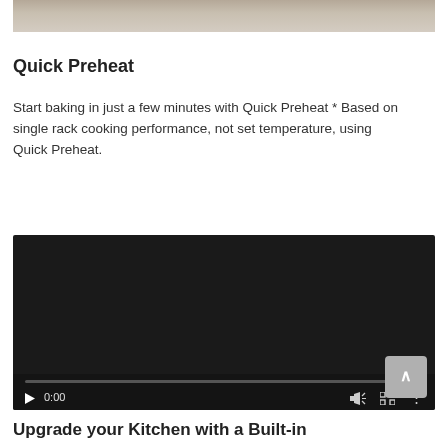[Figure (photo): Partial photo of baking items, cropped at top of page]
Quick Preheat
Start baking in just a few minutes with Quick Preheat * Based on single rack cooking performance, not set temperature, using Quick Preheat.
[Figure (screenshot): Video player showing a dark/black screen with playback controls: play button, 0:00 timestamp, volume icon, fullscreen icon, and more options icon, with a progress bar at the bottom.]
Upgrade your Kitchen with a Built-in